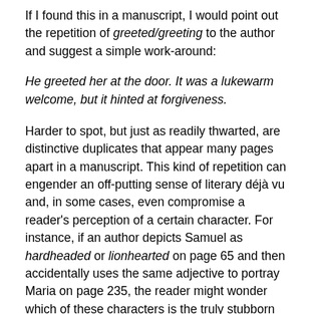If I found this in a manuscript, I would point out the repetition of greeted/greeting to the author and suggest a simple work-around:
He greeted her at the door. It was a lukewarm welcome, but it hinted at forgiveness.
Harder to spot, but just as readily thwarted, are distinctive duplicates that appear many pages apart in a manuscript. This kind of repetition can engender an off-putting sense of literary déjà vu and, in some cases, even compromise a reader's perception of a certain character. For instance, if an author depicts Samuel as hardheaded or lionhearted on page 65 and then accidentally uses the same adjective to portray Maria on page 235, the reader might wonder which of these characters is the truly stubborn or brave one. I make a concerted effort to keep such unique terms